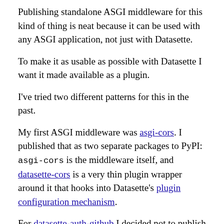Publishing standalone ASGI middleware for this kind of thing is neat because it can be used with any ASGI application, not just with Datasette.
To make it as usable as possible with Datasette I want it made available as a plugin.
I've tried two different patterns for this in the past.
My first ASGI middleware was asgi-cors. I published that as two separate packages to PyPI: asgi-cors is the middleware itself, and datasette-cors is a very thin plugin wrapper around it that hooks into Datasette's plugin configuration mechanism.
For datasette-auth-github I decided not to publish two packages. Instead I published a single plugin package and then described how to use it as standalone ASGI middleware in its documentation.
This lazier approach is confusing: it's not at all clear that a package called datasette-auth-github can be used...